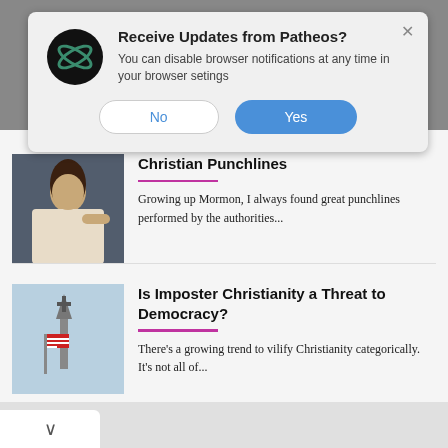[Figure (screenshot): Browser push notification dialog from Patheos website asking 'Receive Updates from Patheos?' with No and Yes buttons, overlaying a webpage with two article cards.]
Receive Updates from Patheos?
You can disable browser notifications at any time in your browser setings
Christian Punchlines
Growing up Mormon, I always found great punchlines performed by the authorities...
Is Imposter Christianity a Threat to Democracy?
There's a growing trend to vilify Christianity categorically. It's not all of...